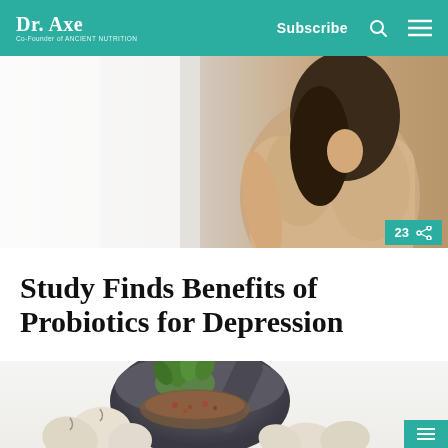Dr. Axe — Co-Founder of ANCIENT NUTRITION | Subscribe
[Figure (photo): Woman from behind, wearing beige sports top, sitting in contemplative pose against white background]
Study Finds Benefits of Probiotics for Depression
[Figure (photo): Mortar and pestle with fresh herbs (parsley/cilantro) and garlic cloves on white background]